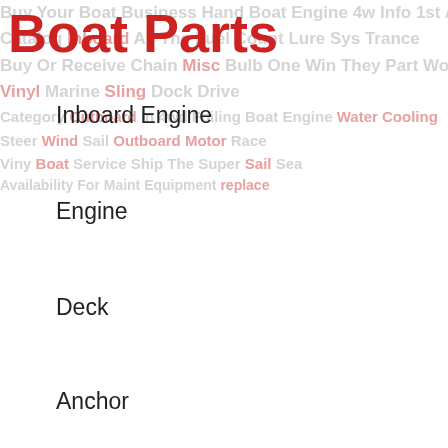Boat Parts
Inboard Engine
Engine
Deck
Anchor
Cover
Seat
Part Number 8m0102454. Warranty Durationother. Boatsmarketplace Is The Largest Marine Oem Parts Dealer In The World. With More Inventory And Sophisticated Warehouse Systems, No Other Oem Dealer Can Get It To You Faster.